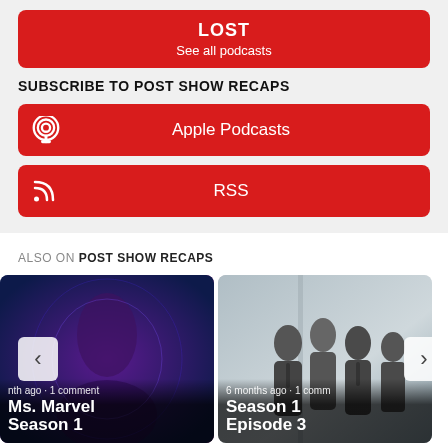LOST
See all podcasts
SUBSCRIBE TO POST SHOW RECAPS
Apple Podcasts
RSS
ALSO ON POST SHOW RECAPS
[Figure (screenshot): Ms. Marvel Season 1 card thumbnail - woman in superhero costume with blue/purple tones, showing metadata '...nth ago · 1 comment']
Ms. Marvel Season 1
[Figure (screenshot): Season 1 Episode 3 card thumbnail - group of men in suits in an office setting, showing metadata '6 months ago · 1 comm...']
Season 1 Episode 3